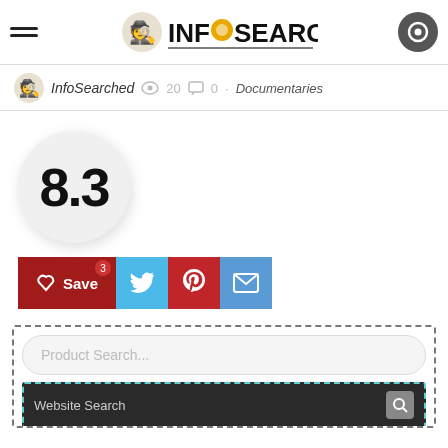InfoSearched — website header with logo and hamburger menu
InfoSearched  20  0  · Documentaries
[Figure (infographic): Rating circle showing score 8.3]
[Figure (infographic): Social share buttons: Save (3), Twitter, Pinterest, Email]
[Figure (screenshot): Product Search input box and Website Search bar inside dashed border]